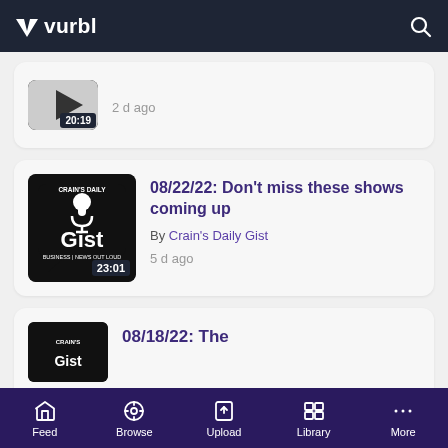vurbl
[Figure (screenshot): Partial podcast card at top with timestamp 20:19 and '2 d ago']
[Figure (screenshot): Crain's Daily Gist podcast thumbnail - black logo with microphone and text 'CRAIN'S DAILY Gist BUSINESS NEWS OUT LOUD', duration badge 23:01]
08/22/22: Don't miss these shows coming up
By Crain's Daily Gist
5 d ago
[Figure (screenshot): Partial podcast card at bottom with text '08/18/22: The' and Crain's Daily Gist thumbnail]
Feed  Browse  Upload  Library  More